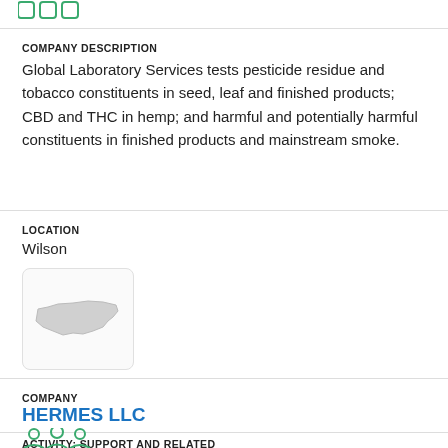[Figure (icon): Green icon with three squares/rectangles at top of page]
COMPANY DESCRIPTION
Global Laboratory Services tests pesticide residue and tobacco constituents in seed, leaf and finished products; CBD and THC in hemp; and harmful and potentially harmful constituents in finished products and mainstream smoke.
LOCATION
Wilson
[Figure (illustration): Small image with North Carolina state silhouette outline in gray on white background with rounded corners]
COMPANY
HERMES LLC
ACTIVITY: SUPPORT AND RELATED
[Figure (icon): Green icon with group of people/team silhouettes at bottom of page]